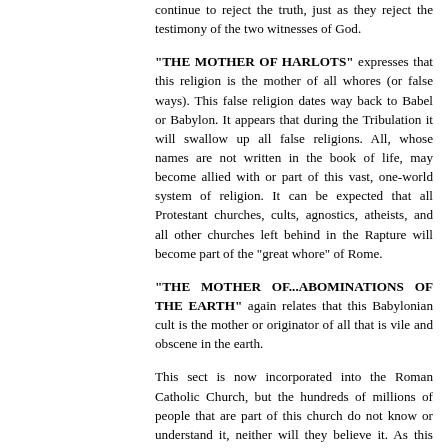continue to reject the truth, just as they reject the testimony of the two witnesses of God.
"THE MOTHER OF HARLOTS" expresses that this religion is the mother of all whores (or false ways). This false religion dates way back to Babel or Babylon. It appears that during the Tribulation it will swallow up all false religions. All, whose names are not written in the book of life, may become allied with or part of this vast, one-world system of religion. It can be expected that all Protestant churches, cults, agnostics, atheists, and all other churches left behind in the Rapture will become part of the "great whore" of Rome.
"THE MOTHER OF...ABOMINATIONS OF THE EARTH" again relates that this Babylonian cult is the mother or originator of all that is vile and obscene in the earth.
This sect is now incorporated into the Roman Catholic Church, but the hundreds of millions of people that are part of this church do not know or understand it, neither will they believe it. As this mother of abominations killed multitudes of God's people, during the dark ages, she is expected to do the same during the Tribulation.